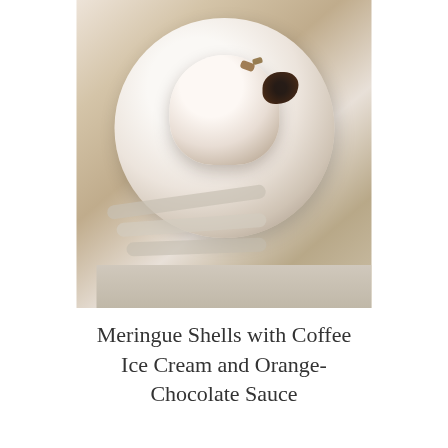[Figure (photo): Food photo showing meringue shells with coffee ice cream topped with chocolate sauce and nuts, served in a glass bowl on a white plate with spoons]
Meringue Shells with Coffee Ice Cream and Orange-Chocolate Sauce
[Figure (photo): Partial photo of a blonde woman, visible from chin up, smiling, against a light background]
Get FLOWER's free e-newsletter! Inspiration for your home, garden, and lifestyle
Enter your email
Sign Me Up